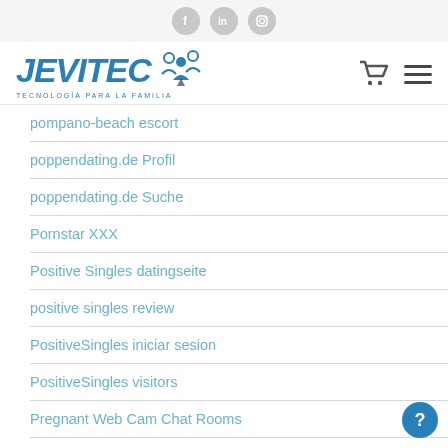Social icons: Facebook, LinkedIn, Instagram
[Figure (logo): JEVITEC logo with tagline TECNOLOGÍA PARA LA FAMILIA and decorative people icon]
pompano-beach escort
poppendating.de Profil
poppendating.de Suche
Pornstar XXX
Positive Singles datingseite
positive singles review
PositiveSingles iniciar sesion
PositiveSingles visitors
Pregnant Web Cam Chat Rooms